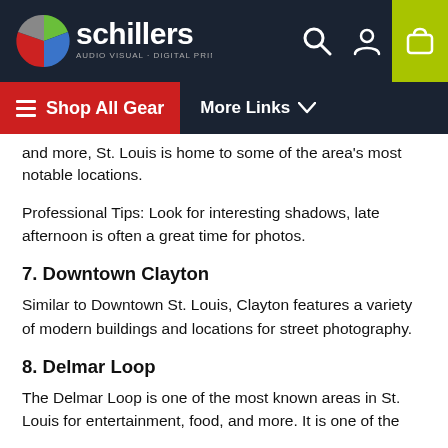[Figure (screenshot): Schillers website header with logo, navigation icons (search, account, cart), red 'Shop All Gear' button with hamburger menu, and 'More Links' dropdown]
and more, St. Louis is home to some of the area's most notable locations.
Professional Tips: Look for interesting shadows, late afternoon is often a great time for photos.
7. Downtown Clayton
Similar to Downtown St. Louis, Clayton features a variety of modern buildings and locations for street photography.
8. Delmar Loop
The Delmar Loop is one of the most known areas in St. Louis for entertainment, food, and more. It is one of the